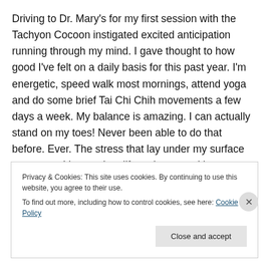Driving to Dr. Mary's for my first session with the Tachyon Cocoon instigated excited anticipation running through my mind. I gave thought to how good I've felt on a daily basis for this past year. I'm energetic, speed walk most mornings, attend yoga and do some brief Tai Chi Chih movements a few days a week. My balance is amazing. I can actually stand on my toes! Never been able to do that before. Ever. The stress that lay under my surface was gone. I have taken life as it came without worry or trying to control it in any way. My strength has surprised me. I've
Privacy & Cookies: This site uses cookies. By continuing to use this website, you agree to their use.
To find out more, including how to control cookies, see here: Cookie Policy